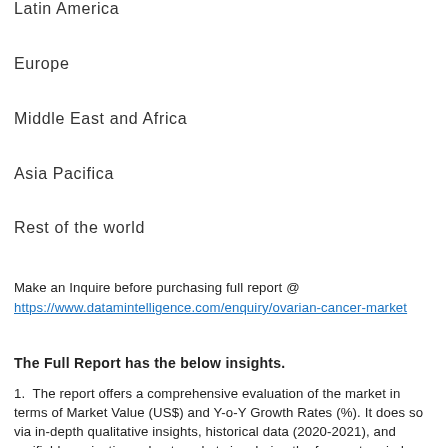Latin America
Europe
Middle East and Africa
Asia Pacifica
Rest of the world
Make an Inquire before purchasing full report @ https://www.datamintelligence.com/enquiry/ovarian-cancer-market
The Full Report has the below insights.
The report offers a comprehensive evaluation of the market in terms of Market Value (US$) and Y-o-Y Growth Rates (%). It does so via in-depth qualitative insights, historical data (2020-2021), and verifiable projections about market size during the forecast period (2022-2028).